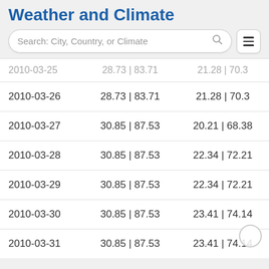Weather and Climate
| Date | Max Temp °C | °F | Min Temp °C | °F |
| --- | --- | --- |
| 2010-03-25 | 28.73 | 83.71 | 21.28 | 70.3 |
| 2010-03-26 | 28.73 | 83.71 | 21.28 | 70.3 |
| 2010-03-27 | 30.85 | 87.53 | 20.21 | 68.38 |
| 2010-03-28 | 30.85 | 87.53 | 22.34 | 72.21 |
| 2010-03-29 | 30.85 | 87.53 | 22.34 | 72.21 |
| 2010-03-30 | 30.85 | 87.53 | 23.41 | 74.14 |
| 2010-03-31 | 30.85 | 87.53 | 23.41 | 74.14 |